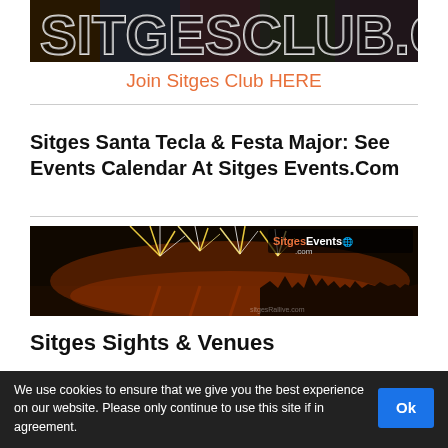[Figure (photo): Banner image with stylized text 'SITGESCLUB.COM' overlaid on crowd photos with dark blue/purple tones]
Join Sitges Club HERE
Sitges Santa Tecla & Festa Major: See Events Calendar At Sitges Events.Com
[Figure (photo): Night fireworks over the sea with city silhouette of Sitges in the background, warm orange-brown tones. SitgesEvents.com logo overlay in top right.]
Sitges Sights & Venues
We use cookies to ensure that we give you the best experience on our website. Please only continue to use this site if in agreement.